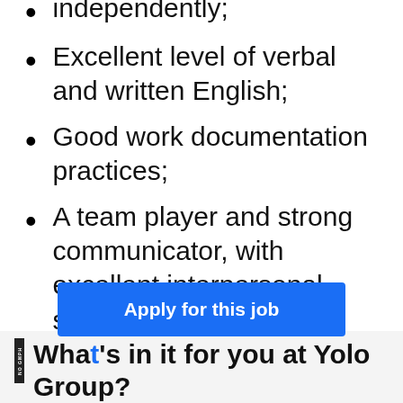independently;
Excellent level of verbal and written English;
Good work documentation practices;
A team player and strong communicator, with excellent interpersonal skills.
What's in it for you at Yolo Group?